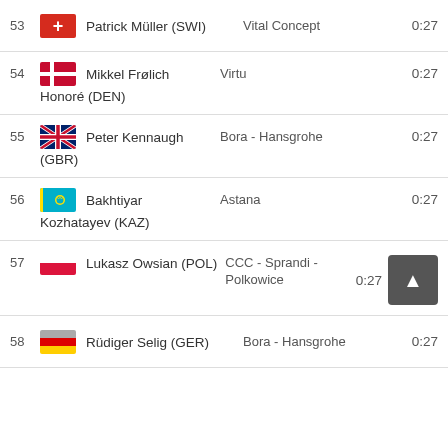| Rank | Flag | Rider | Team | Time |
| --- | --- | --- | --- | --- |
| 53 | SWI | Patrick Müller (SWI) | Vital Concept | 0:27 |
| 54 | DEN | Mikkel Frølich Honoré (DEN) | Virtu | 0:27 |
| 55 | GBR | Peter Kennaugh (GBR) | Bora - Hansgrohe | 0:27 |
| 56 | KAZ | Bakhtiyar Kozhatayev (KAZ) | Astana | 0:27 |
| 57 | POL | Lukasz Owsian (POL) | CCC - Sprandi - Polkowice | 0:27 |
| 58 | GER | Rüdiger Selig (GER) | Bora - Hansgrohe | 0:27 |